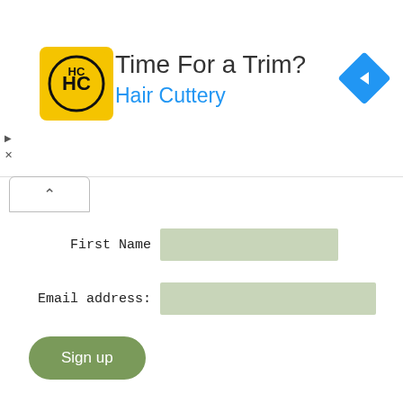[Figure (screenshot): Hair Cuttery advertisement banner with yellow HC logo, headline 'Time For a Trim?', brand name 'Hair Cuttery' in blue, and a blue diamond navigation arrow icon on the right]
Time For a Trim?
Hair Cuttery
First Name
Email address:
Sign up